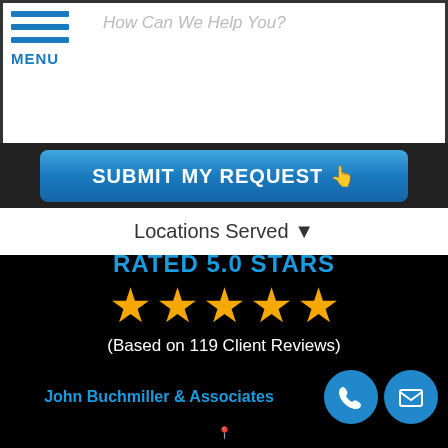How Can We Help You?
[Figure (screenshot): Submit My Request button with hand pointer icon on blue gradient background]
Locations Served ▾
RATED 5.0 STARS
[Figure (illustration): Five gold stars rating display]
(Based on 119 Client Reviews)
John Buchmiller & Associates